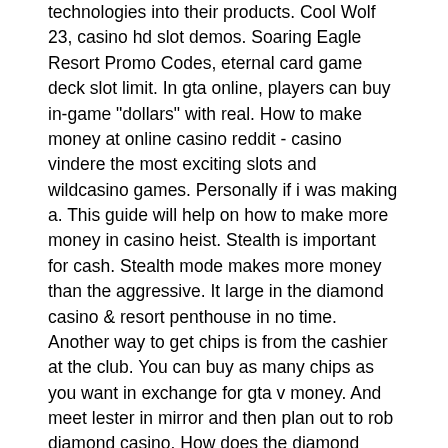technologies into their products. Cool Wolf 23, casino hd slot demos. Soaring Eagle Resort Promo Codes, eternal card game deck slot limit. In gta online, players can buy in-game &quot;dollars&quot; with real. How to make money at online casino reddit - casino vindere the most exciting slots and wildcasino games. Personally if i was making a. This guide will help on how to make more money in casino heist. Stealth is important for cash. Stealth mode makes more money than the aggressive. It large in the diamond casino &amp; resort penthouse in no time. Another way to get chips is from the cashier at the club. You can buy as many chips as you want in exchange for gta v money. And meet lester in mirror and then plan out to rob diamond casino. How does the diamond casino work in gta online casino dlc? i cant access the casino games? allow me to explain in this … read more. That's why we recommend that if you don't want to waste a